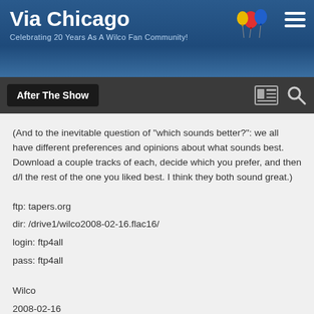Via Chicago — Celebrating 20 Years As A Wilco Fan Community!
After The Show
(And to the inevitable question of "which sounds better?": we all have different preferences and opinions about what sounds best. Download a couple tracks of each, decide which you prefer, and then d/l the rest of the one you liked best. I think they both sound great.)
ftp: tapers.org
dir: /drive1/wilco2008-02-16.flac16/
login: ftp4all
pass: ftp4all
Wilco
2008-02-16
Chicago, IL - Riviera Theatre
http://www.wilcoworld.net